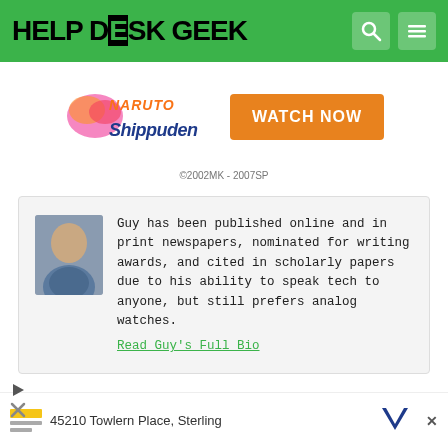HELP DESK GEEK
[Figure (screenshot): Naruto Shippuden logo and WATCH NOW orange button advertisement banner]
©2002MK - 2007SP
Guy has been published online and in print newspapers, nominated for writing awards, and cited in scholarly papers due to his ability to speak tech to anyone, but still prefers analog watches.
Read Guy's Full Bio
[Figure (screenshot): Bottom advertisement strip with address 45210 Towlern Place, Sterling and close button]